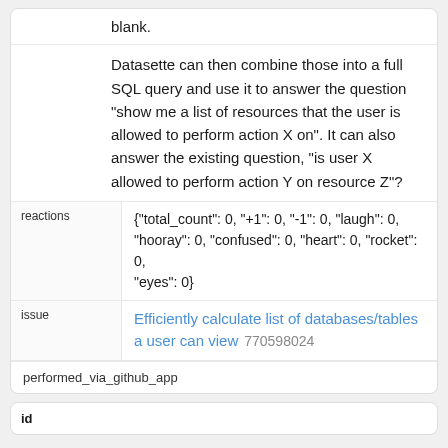blank.
Datasette can then combine those into a full SQL query and use it to answer the question "show me a list of resources that the user is allowed to perform action X on". It can also answer the existing question, "is user X allowed to perform action Y on resource Z"?
reactions
{"total_count": 0, "+1": 0, "-1": 0, "laugh": 0, "hooray": 0, "confused": 0, "heart": 0, "rocket": 0, "eyes": 0}
issue
Efficiently calculate list of databases/tables a user can view 770598024
performed_via_github_app
id